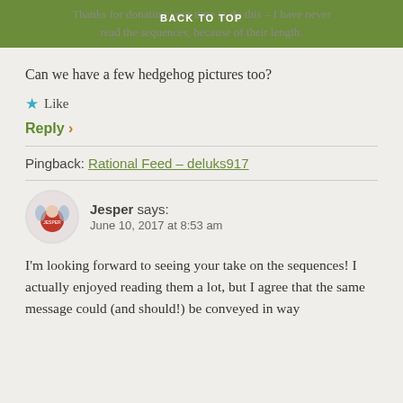BACK TO TOP
Thanks for donating your time to do this – I have never read the sequences, because of their length.
Can we have a few hedgehog pictures too?
★ Like
Reply ›
Pingback: Rational Feed – deluks917
Jesper says:
June 10, 2017 at 8:53 am
I'm looking forward to seeing your take on the sequences! I actually enjoyed reading them a lot, but I agree that the same message could (and should!) be conveyed in way